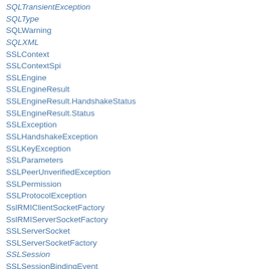SQLTransientException
SQLType
SQLWarning
SQLXML
SSLContext
SSLContextSpi
SSLEngine
SSLEngineResult
SSLEngineResult.HandshakeStatus
SSLEngineResult.Status
SSLException
SSLHandshakeException
SSLKeyException
SSLParameters
SSLPeerUnverifiedException
SSLPermission
SSLProtocolException
SslRMIClientSocketFactory
SslRMIServerSocketFactory
SSLServerSocket
SSLServerSocketFactory
SSLSession
SSLSessionBindingEvent
SSLSessionBindingListener
SSLSessionContext
SSLSocket
SSLSocketFactory
Stack
StackOverflowError